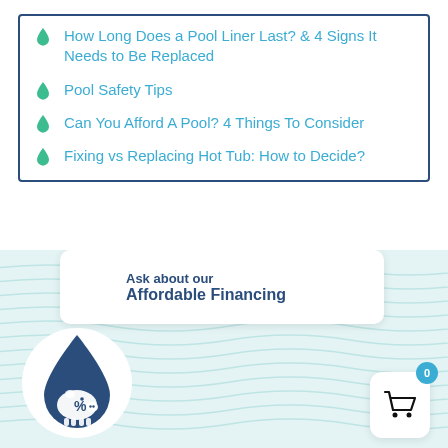How Long Does a Pool Liner Last? & 4 Signs It Needs to Be Replaced
Pool Safety Tips
Can You Afford A Pool? 4 Things To Consider
Fixing vs Replacing Hot Tub: How to Decide?
[Figure (illustration): Wave pattern background in light teal, with a circular mascot icon showing a blue water drop with a piggy bank and percent sign, and a financing call-to-action banner reading 'Ask about our Affordable Financing' with a shopping cart icon showing badge 0]